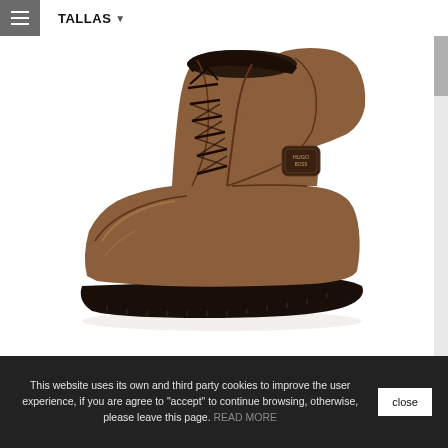TALLAS ▾
[Figure (photo): Side view of a brown leather lace-up ankle boot with dark rubber sole and brand badge on the side, shown on white background]
This website uses its own and third party cookies to improve the user experience, if you are agree to "accept" to continue browsing, otherwise, please leave this page. READ MORE